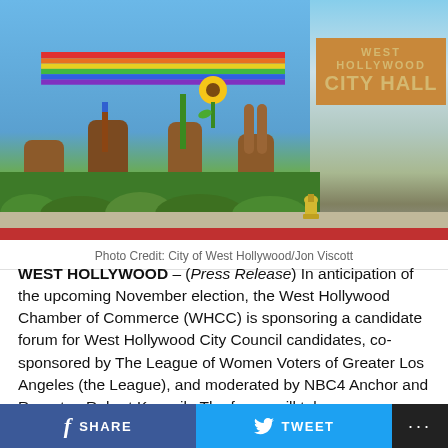[Figure (photo): West Hollywood City Hall exterior with colorful mural showing raised fists and a rainbow, and the 'WEST HOLLYWOOD CITY HALL' sign on a wood-paneled wall]
Photo Credit: City of West Hollywood/Jon Viscott
WEST HOLLYWOOD – (Press Release) In anticipation of the upcoming November election, the West Hollywood Chamber of Commerce (WHCC) is sponsoring a candidate forum for West Hollywood City Council candidates, co-sponsored by The League of Women Voters of Greater Los Angeles (the League), and moderated by NBC4 Anchor and Reporter, Robert Kovacik. The forum will take